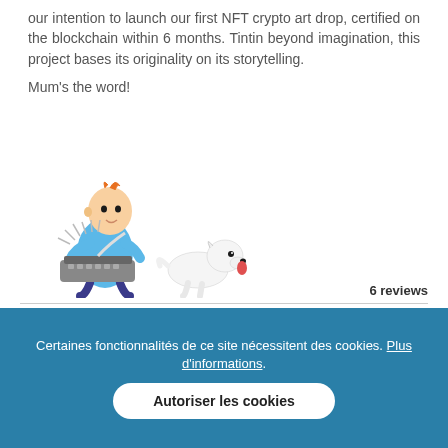our intention to launch our first NFT crypto art drop, certified on the blockchain within 6 months. Tintin beyond imagination, this project bases its originality on its storytelling.
Mum's the word!
[Figure (illustration): Tintin sitting at a typewriter typing furiously, with Milou (Snowy) sitting beside him watching]
6 reviews
Log in or create a Tintin.com account to write a review.
Certaines fonctionnalités de ce site nécessitent des cookies. Plus d'informations.
Autoriser les cookies